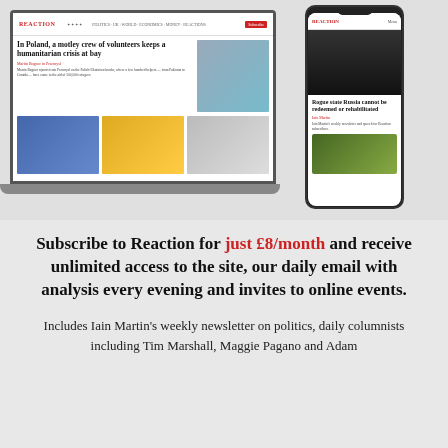[Figure (screenshot): Screenshot of Reaction website shown on a laptop and a mobile phone. The laptop shows an article titled 'In Poland, a motley crew of volunteers keeps a humanitarian crisis at bay' with news images. The phone shows 'Rogue state Russia cannot be redeemed or rehabilitated' article and a landscape image.]
Subscribe to Reaction for just £8/month and receive unlimited access to the site, our daily email with analysis every evening and invites to online events.
Includes Iain Martin's weekly newsletter on politics, daily columnists including Tim Marshall, Maggie Pagano and Adam